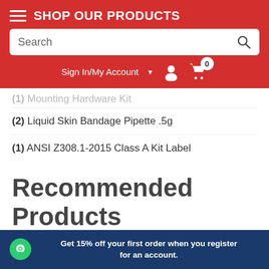SHOP OUR PRODUCTS
(1) Mounting Hardware Kit
(2) Liquid Skin Bandage Pipette .5g
(1) ANSI Z308.1-2015 Class A Kit Label
Recommended Products
Get 15% off your first order when you register for an account.